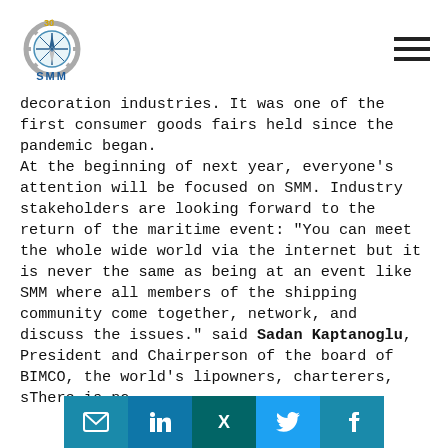SMM logo and hamburger menu
decoration industries. It was one of the first consumer goods fairs held since the pandemic began.
At the beginning of next year, everyone's attention will be focused on SMM. Industry stakeholders are looking forward to the return of the maritime event: "You can meet the whole wide world via the internet but it is never the same as being at an event like SMM where all members of the shipping community come together, network, and discuss the issues." said Sadan Kaptanoglu, President and Chairperson of the board of BIMCO, the world's la[rgest association of shipowners], charterers, s[hipbrokers and agents]. There is no
[Figure (infographic): Social media sharing bar with email, LinkedIn, Xing, Twitter, and Facebook icons]